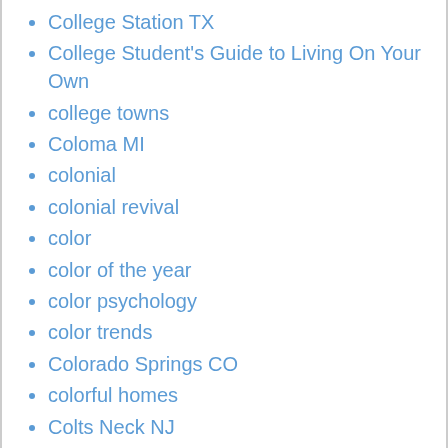College Station TX
College Student's Guide to Living On Your Own
college towns
Coloma MI
colonial
colonial revival
color
color of the year
color psychology
color trends
Colorado Springs CO
colorful homes
Colts Neck NJ
Columbia Island
Columbia MD
Columbia MO
Columbia SC
Columbia Station OH
Columbus GA